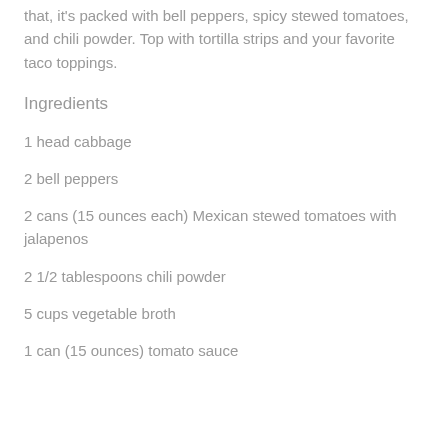that, it's packed with bell peppers, spicy stewed tomatoes, and chili powder. Top with tortilla strips and your favorite taco toppings.
Ingredients
1 head cabbage
2 bell peppers
2 cans (15 ounces each) Mexican stewed tomatoes with jalapenos
2 1/2 tablespoons chili powder
5 cups vegetable broth
1 can (15 ounces) tomato sauce